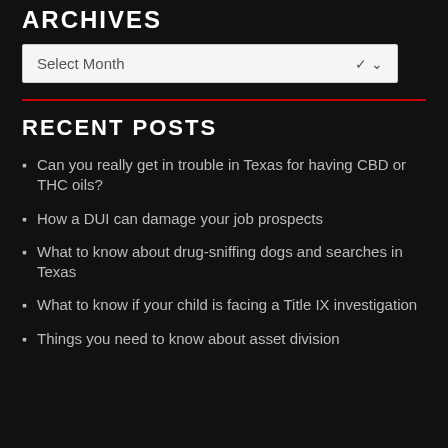ARCHIVES
Select Month
RECENT POSTS
Can you really get in trouble in Texas for having CBD or THC oils?
How a DUI can damage your job prospects
What to know about drug-sniffing dogs and searches in Texas
What to know if your child is facing a Title IX investigation
Things you need to know about asset division